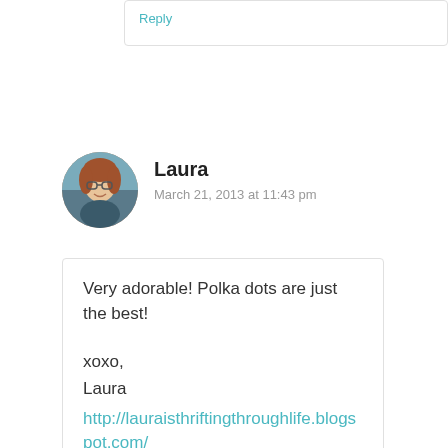Reply
[Figure (photo): Circular avatar photo of Laura, a woman with glasses and reddish-brown hair]
Laura
March 21, 2013 at 11:43 pm
Very adorable! Polka dots are just the best!

xoxo,
Laura
http://lauraisthriftingthroughlife.blogspot.com/